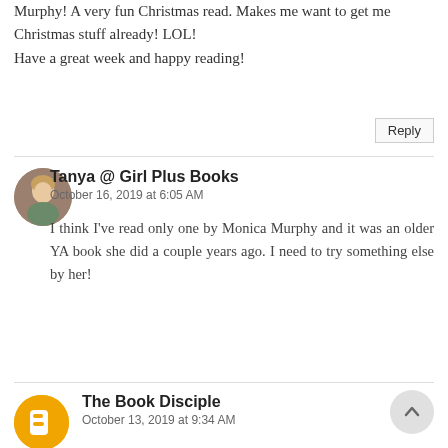Murphy! A very fun Christmas read. Makes me want to get me Christmas stuff already! LOL!
Have a great week and happy reading!
Reply
Tanya @ Girl Plus Books
October 16, 2019 at 6:05 AM
I think I've read only one by Monica Murphy and it was an older YA book she did a couple years ago. I need to try something else by her!
The Book Disciple
October 13, 2019 at 9:34 AM
I love the #ReadForGrace idea. I saw Wicked years